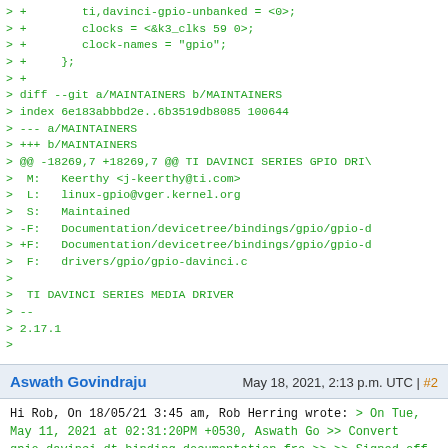> +        ti,davinci-gpio-unbanked = <0>;
> +        clocks = <&k3_clks 59 0>;
> +        clock-names = "gpio";
> +     };
> +
> diff --git a/MAINTAINERS b/MAINTAINERS
> index 6e183abbbd2e..6b3519db8085 100644
> --- a/MAINTAINERS
> +++ b/MAINTAINERS
> @@ -18269,7 +18269,7 @@ TI DAVINCI SERIES GPIO DRI
>  M:   Keerthy <j-keerthy@ti.com>
>  L:   linux-gpio@vger.kernel.org
>  S:   Maintained
> -F:   Documentation/devicetree/bindings/gpio/gpio-d
> +F:   Documentation/devicetree/bindings/gpio/gpio-d
>  F:   drivers/gpio/gpio-davinci.c
> 
>   TI DAVINCI SERIES MEDIA DRIVER
> --
> 2.17.1
>
Aswath Govindraju   May 18, 2021, 2:13 p.m. UTC | #2
Hi Rob,

On 18/05/21 3:45 am, Rob Herring wrote:
> On Tue, May 11, 2021 at 02:31:20PM +0530, Aswath Go
>> Convert gpio-davinci dt-binding documentation fro
>>
>> Signed-off-by: Aswath Govindraju <a-govindraju@ti